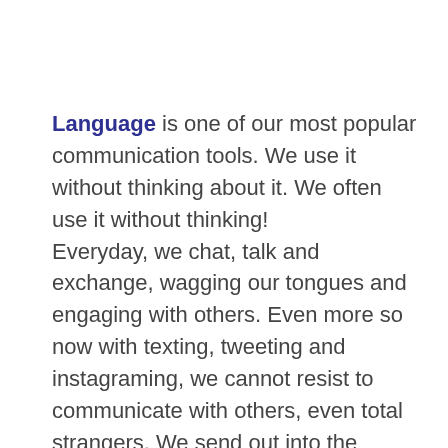Language is one of our most popular communication tools. We use it without thinking about it. We often use it without thinking! Everyday, we chat, talk and exchange, wagging our tongues and engaging with others. Even more so now with texting, tweeting and instagraming, we cannot resist to communicate with others, even total strangers. We send out into the digital world our thoughts and feelings in a constant flow to tell everyone what is going on for us. And then, we wait for the replies, and the likes and the